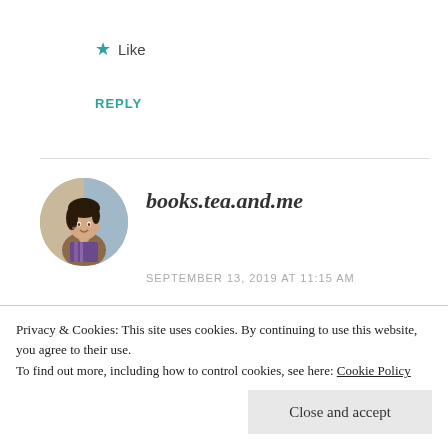★ Like
REPLY
[Figure (illustration): Circular avatar illustration of a woman with dark hair, colorful clothing, with painted artwork in the background]
books.tea.and.me
SEPTEMBER 13, 2019 AT 11:15 AM
You're welcome, hope it helps 😊 I'm using the book as a stimulus for an improvisation activity at the theatre this
Privacy & Cookies: This site uses cookies. By continuing to use this website, you agree to their use.
To find out more, including how to control cookies, see here: Cookie Policy
Close and accept